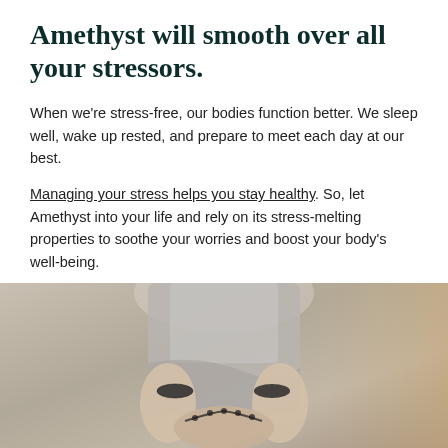Amethyst will smooth over all your stressors.
When we're stress-free, our bodies function better. We sleep well, wake up rested, and prepare to meet each day at our best.
Managing your stress helps you stay healthy. So, let Amethyst into your life and rely on its stress-melting properties to soothe your worries and boost your body's well-being.
[Figure (photo): A woman in a grey sleeveless top holding beaded bracelets/mala beads in both hands, wearing dark bead bracelets on her wrists, meditating or in a calm pose.]